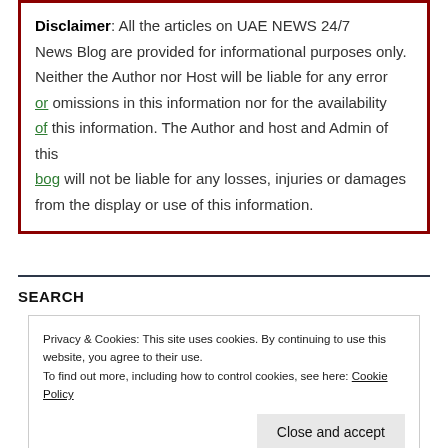Disclaimer: All the articles on UAE NEWS 24/7 News Blog are provided for informational purposes only. Neither the Author nor Host will be liable for any error or omissions in this information nor for the availability of this information. The Author and host and Admin of this bog will not be liable for any losses, injuries or damages from the display or use of this information.
SEARCH
Privacy & Cookies: This site uses cookies. By continuing to use this website, you agree to their use. To find out more, including how to control cookies, see here: Cookie Policy